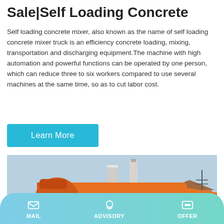Sale|Self Loading Concrete
Self loading concrete mixer, also known as the name of self loading concrete mixer truck is an efficiency concrete loading, mixing, transportation and discharging equipment.The machine with high automation and powerful functions can be operated by one person, which can reduce three to six workers compared to use several machines at the same time, so as to cut labor cost.
Learn More
[Figure (photo): Orange concrete pump truck labeled HBT40-13-45 mixed concrete pump, parked outdoors with buildings in background.]
MAIL   ADVISORY   OFFER